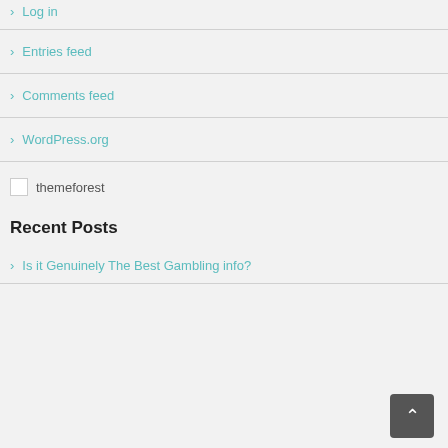> Log in
> Entries feed
> Comments feed
> WordPress.org
[Figure (illustration): Broken image placeholder with text 'themeforest']
Recent Posts
> Is it Genuinely The Best Gambling info?